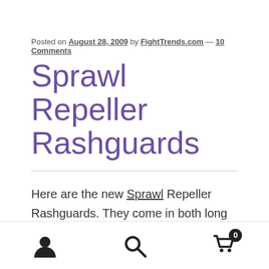Posted on August 28, 2009 by FightTrends.com — 10 Comments
Sprawl Repeller Rashguards
Here are the new Sprawl Repeller Rashguards. They come in both long and short sleeve and are specially designed to keep your fat, hairy and smelly training partners sweat from seeping through your rashgaurd and onto your skin. Sprawl has been super busy this month releasing new products, including the new
user icon, search icon, cart icon with badge 0